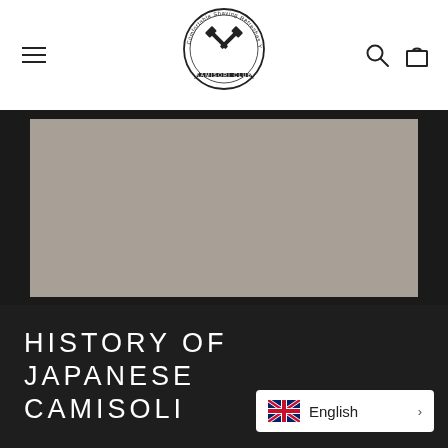Kamisori Club — navigation bar with hamburger menu, logo, search and cart icons
[Figure (logo): Kamisori Club circular badge logo with crossed razors and text 'Comfortable Shaving Refreshes Your Day' and 'KAMISORI CLUB' banner]
[Figure (photo): Hero image placeholder — large dark-bordered grey rectangle]
HISTORY OF JAPANESE CAMISOLI
[Figure (other): Language selector widget showing UK flag and 'English' text with arrow]